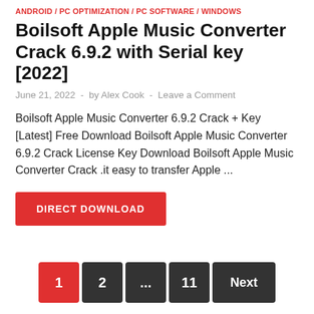ANDROID / PC OPTIMIZATION / PC SOFTWARE / WINDOWS
Boilsoft Apple Music Converter Crack 6.9.2 with Serial key [2022]
June 21, 2022  -  by Alex Cook  -  Leave a Comment
Boilsoft Apple Music Converter 6.9.2 Crack + Key [Latest] Free Download Boilsoft Apple Music Converter 6.9.2 Crack License Key Download Boilsoft Apple Music Converter Crack .it easy to transfer Apple ...
[Figure (other): Red DIRECT DOWNLOAD button]
1  2  ...  11  Next
SEARCH HERE